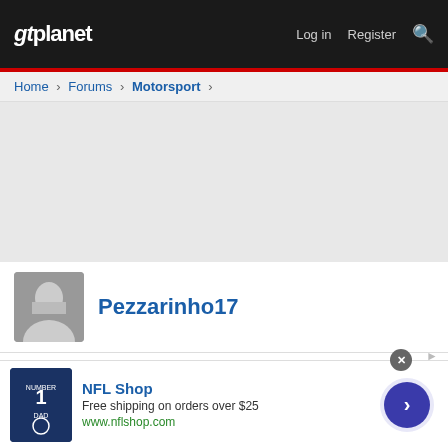gtplanet  Log in  Register
Home > Forums > Motorsport >
[Figure (other): Gray advertisement placeholder area]
Pezzarinho17
Jul 13, 2021  #566
Pezzarinho17
Roses are red, Williams are blue. Sorry George Russell, no points for you...
NFL Shop
Free shipping on orders over $25
www.nflshop.com